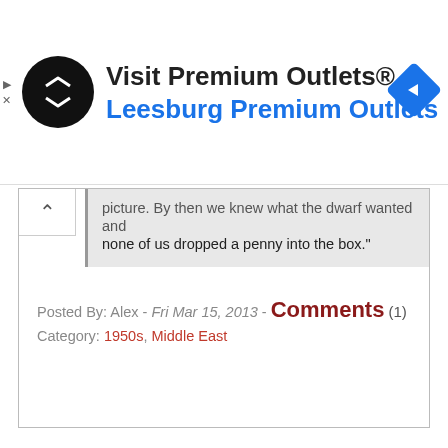[Figure (screenshot): Advertisement banner for Visit Premium Outlets / Leesburg Premium Outlets with circular black logo with white double-arrow, blue hyperlink text, and blue navigation diamond icon on the right. Small play and X icons on the far left.]
picture. By then we knew what the dwarf wanted and none of us dropped a penny into the box."
Posted By: Alex - Fri Mar 15, 2013 - Comments (1)
Category: 1950s, Middle East